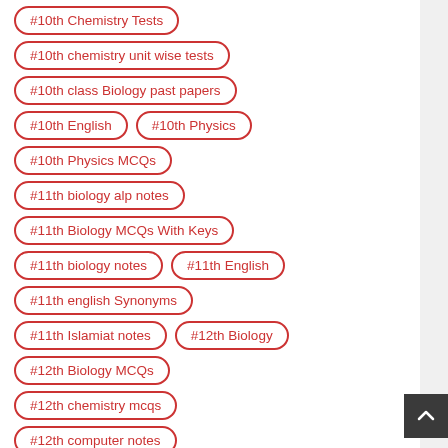#10th Chemistry Tests
#10th chemistry unit wise tests
#10th class Biology past papers
#10th English
#10th Physics
#10th Physics MCQs
#11th biology alp notes
#11th Biology MCQs With Keys
#11th biology notes
#11th English
#11th english Synonyms
#11th Islamiat notes
#12th Biology
#12th Biology MCQs
#12th chemistry mcqs
#12th computer notes
#12th english mcqs
#12th physics
#Biology key points